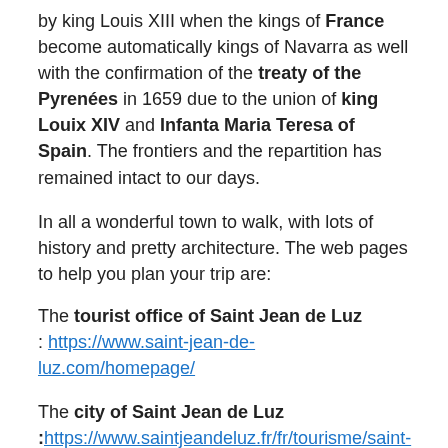by king Louis XIII when the kings of France become automatically kings of Navarra as well with the confirmation of the treaty of the Pyrenées in 1659 due to the union of king Louix XIV and Infanta Maria Teresa of Spain. The frontiers and the repartition has remained intact to our days.
In all a wonderful town to walk, with lots of history and pretty architecture. The web pages to help you plan your trip are:
The tourist office of Saint Jean de Luz : https://www.saint-jean-de-luz.com/homepage/
The city of Saint Jean de Luz :https://www.saintjeandeluz.fr/fr/tourisme/saint-jean-de-luz-ville-balneaire/